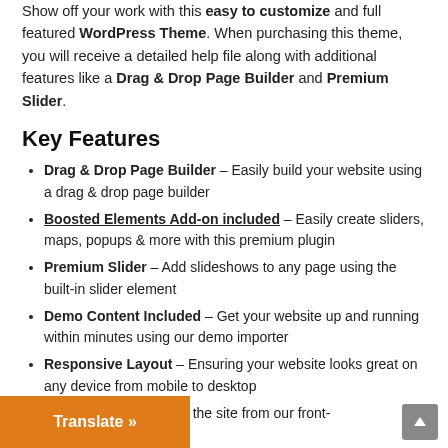Show off your work with this easy to customize and full featured WordPress Theme. When purchasing this theme, you will receive a detailed help file along with additional features like a Drag & Drop Page Builder and Premium Slider.
Key Features
Drag & Drop Page Builder – Easily build your website using a drag & drop page builder
Boosted Elements Add-on included – Easily create sliders, maps, popups & more with this premium plugin
Premium Slider – Add slideshows to any page using the built-in slider element
Demo Content Included – Get your website up and running within minutes using our demo importer
Responsive Layout – Ensuring your website looks great on any device from mobile to desktop
... – Change the look of the site from our front-omizer